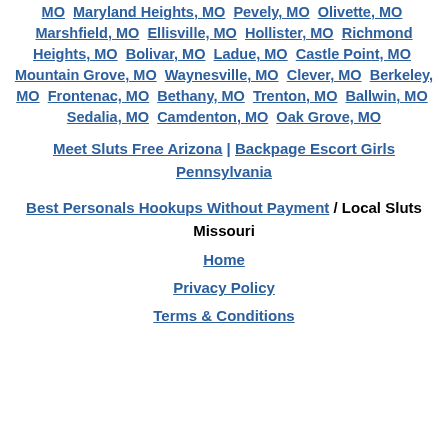MO  Maryland Heights, MO  Pevely, MO  Olivette, MO  Marshfield, MO  Ellisville, MO  Hollister, MO  Richmond Heights, MO  Bolivar, MO  Ladue, MO  Castle Point, MO  Mountain Grove, MO  Waynesville, MO  Clever, MO  Berkeley, MO  Frontenac, MO  Bethany, MO  Trenton, MO  Ballwin, MO  Sedalia, MO  Camdenton, MO  Oak Grove, MO
Meet Sluts Free Arizona | Backpage Escort Girls Pennsylvania
Best Personals Hookups Without Payment / Local Sluts Missouri
Home
Privacy Policy
Terms & Conditions